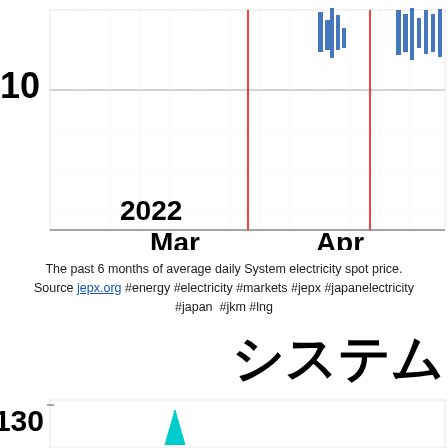[Figure (continuous-plot): Top portion of a line/bar chart showing average daily system electricity spot price with y-axis label '10' visible, x-axis labels 'Mar 2022' and 'Apr', blue data series with spikes, red vertical reference lines, dotted grid]
The past 6 months of average daily System electricity spot price. Source jepx.org #energy #electricity #markets #jepx #japanelectricity #japan  #jkm #lng
システム Ave  Japanese
[Figure (continuous-plot): Bottom portion of a chart with y-axis label '130' and a cyan/teal spike visible at lower left]